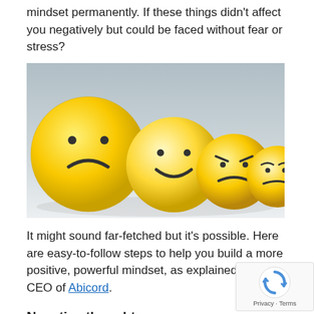mindset permanently. If these things didn't affect you negatively but could be faced without fear or stress?
[Figure (photo): Four yellow emoji balls in a row showing different emotions: sad face, happy face, angry face, and worried/confused face, on a light gray background.]
It might sound far-fetched but it's possible. Here are easy-to-follow steps to help you build a more positive, powerful mindset, as explained by the CEO of Abicord.
Negative thoughts
The average person has over 20 negative thoughts per day. (I meet people who have many hundreds per day).